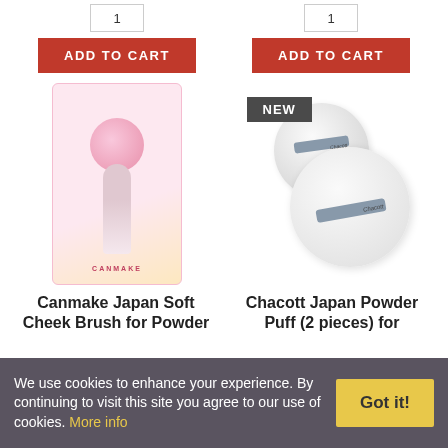[Figure (screenshot): E-commerce product listing page showing two columns: left has Canmake Japan Soft Cheek Brush with ADD TO CART button, right has Chacott Japan Powder Puff (2 pieces) with NEW badge and ADD TO CART button. A cookie consent banner appears at the bottom.]
ADD TO CART
ADD TO CART
Canmake Japan Soft Cheek Brush for Powder
Chacott Japan Powder Puff (2 pieces) for
We use cookies to enhance your experience. By continuing to visit this site you agree to our use of cookies. More info
Got it!